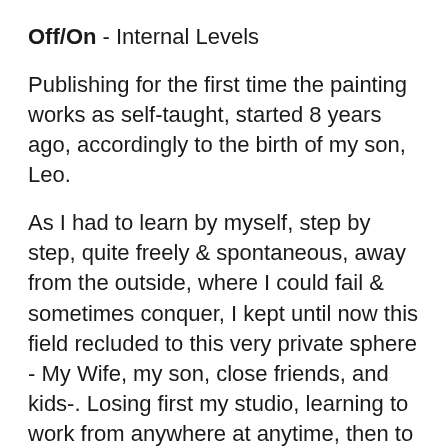Off/On - Internal Levels
Publishing for the first time the painting works as self-taught, started 8 years ago, accordingly to the birth of my son, Leo.
As I had to learn by myself, step by step, quite freely & spontaneous, away from the outside, where I could fail & sometimes conquer, I kept until now this field recluded to this very private sphere - My Wife, my son, close friends, and kids-. Losing first my studio, learning to work from anywhere at anytime, then to get a perfect one years later, still in the house. Everything matters, and there is just now.
Today emerges a certain need for sharing them. A -necessity-. Another one. Ready to accept foreign glances and criticism, as some parts are already from the past, but still a part from me, and thus straddle one cycle to go to the other, or mix